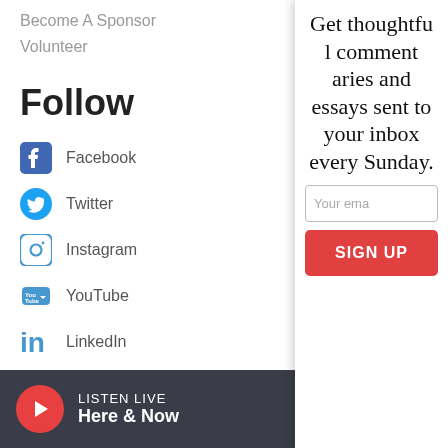Become A Sponsor
Volunteer
Follow
Facebook
Twitter
Instagram
YouTube
LinkedIn
LISTEN LIVE
Here & Now
Get thoughtful commentaries and essays sent to your inbox every Sunday.
Your ema
SIGN UP